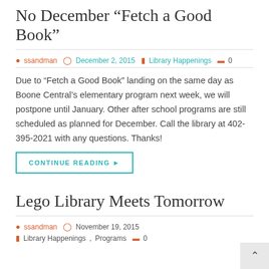No December “Fetch a Good Book”
ssandman  December 2, 2015  Library Happenings  0
Due to “Fetch a Good Book” landing on the same day as Boone Central’s elementary program next week, we will postpone until January. Other after school programs are still scheduled as planned for December. Call the library at 402-395-2021 with any questions. Thanks!
CONTINUE READING
Lego Library Meets Tomorrow
ssandman  November 19, 2015
Library Happenings, Programs  0